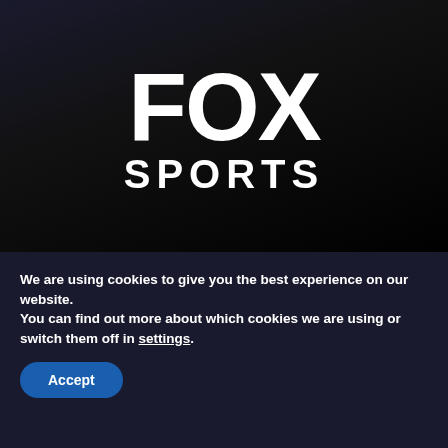[Figure (logo): Fox Sports logo — white bold 'FOX' text above white bold 'SPORTS' text on a dark gradient background]
We are using cookies to give you the best experience on our website.
You can find out more about which cookies we are using or switch them off in settings.